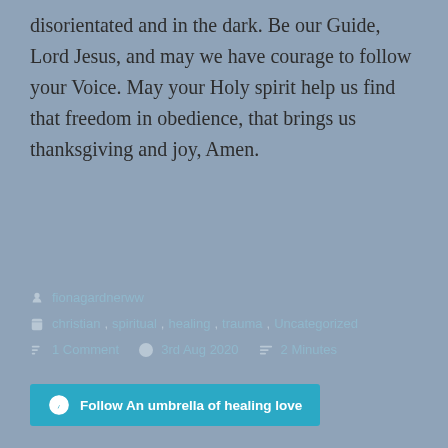disorientated and in the dark. Be our Guide, Lord Jesus, and may we have courage to follow your Voice. May your Holy spirit help us find that freedom in obedience, that brings us thanksgiving and joy, Amen.
fionagardnerww
christian, spiritual, healing, trauma, Uncategorized
1 Comment   3rd Aug 2020   2 Minutes
Follow An umbrella of healing love